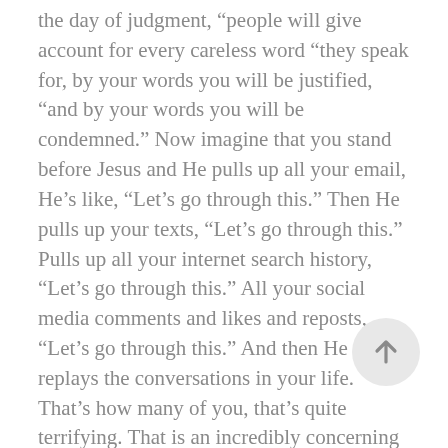the day of judgment, “people will give account for every careless word “they speak for, by your words you will be justified, “and by your words you will be condemned.” Now imagine that you stand before Jesus and He pulls up all your email, He’s like, “Let’s go through this.” Then He pulls up your texts, “Let’s go through this.” Pulls up all your internet search history, “Let’s go through this.” All your social media comments and likes and reposts, “Let’s go through this.” And then He replays the conversations in your life. That’s how many of you, that’s quite terrifying. That is an incredibly concerning reality. And there’s two kinds of judgment on that last day, for those who are not Christians, this will